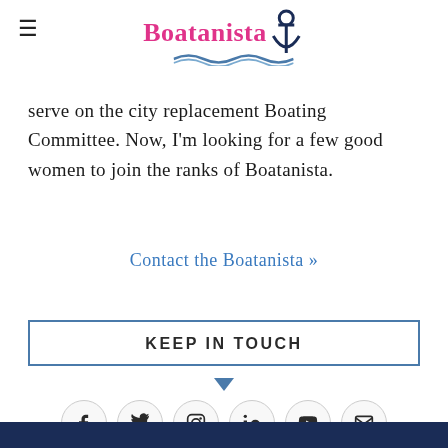Boatanista [logo with anchor]
...serve on the city replacement Boating Committee. Now, I'm looking for a few good women to join the ranks of Boatanista.
Contact the Boatanista »
KEEP IN TOUCH
[Figure (other): Social media icon row: Facebook, Twitter, Instagram, LinkedIn, YouTube, Email]